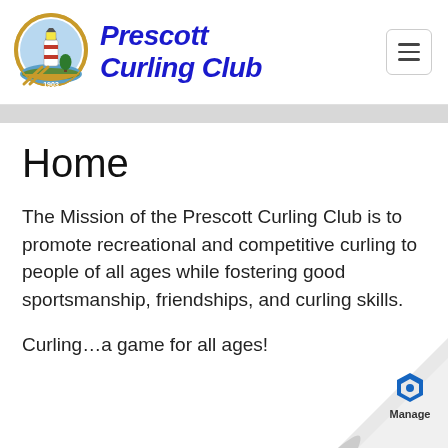[Figure (logo): Prescott Curling Club logo with lighthouse badge and italic bold blue text 'Prescott Curling Club' and hamburger menu icon]
Home
The Mission of the Prescott Curling Club is to promote recreational and competitive curling to people of all ages while fostering good sportsmanship, friendships, and curling skills.
Curling…a game for all ages!
[Figure (logo): Manage widget in bottom-right corner with a hexagonal icon and 'Manage' label on a curled paper corner graphic]